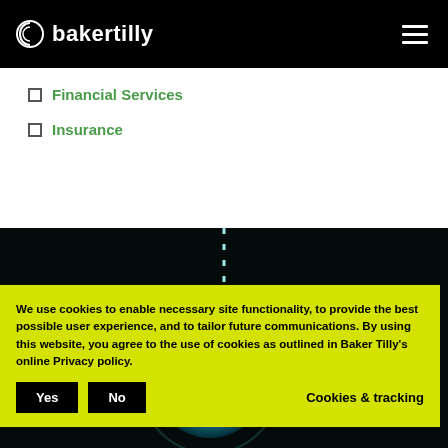bakertilly
Financial Services
Insurance
[Figure (photo): Dark background with a teal/cyan glowing sphere and dotted vertical light trail — decorative website hero image]
We use cookies to enable necessary site functionality, to provide the best possible user experience, and to tailor future communications. By using this website, you agree to the use of cookies as outlined in Baker Tilly's online Privacy policy.
Yes   No   Cookies & tracking